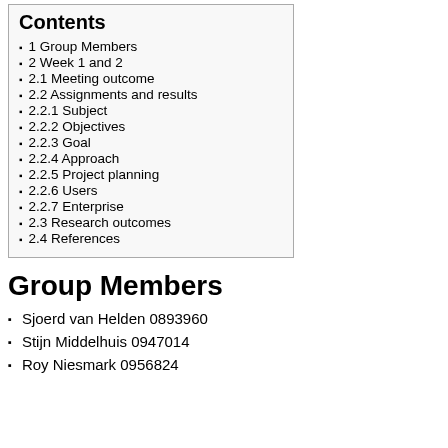Contents
1 Group Members
2 Week 1 and 2
2.1 Meeting outcome
2.2 Assignments and results
2.2.1 Subject
2.2.2 Objectives
2.2.3 Goal
2.2.4 Approach
2.2.5 Project planning
2.2.6 Users
2.2.7 Enterprise
2.3 Research outcomes
2.4 References
Group Members
Sjoerd van Helden 0893960
Stijn Middelhuis 0947014
Roy Niesmark 0956824